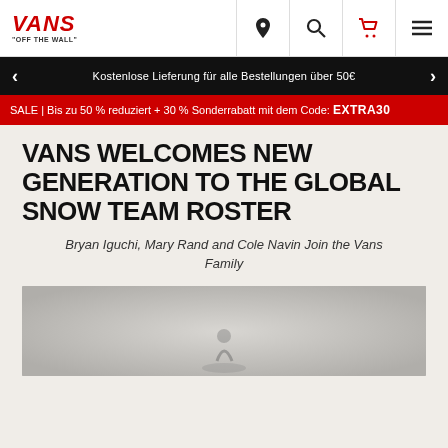VANS "OFF THE WALL"
Kostenlose Lieferung für alle Bestellungen über 50€
SALE | Bis zu 50 % reduziert + 30 % Sonderrabatt mit dem Code: EXTRA30
VANS WELCOMES NEW GENERATION TO THE GLOBAL SNOW TEAM ROSTER
Bryan Iguchi, Mary Rand and Cole Navin Join the Vans Family
[Figure (photo): Photo of a snowboarder, partially visible at bottom of page, against a gradient grey background]